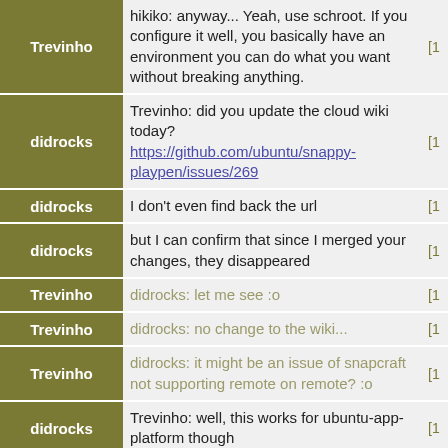| Name | Message |  |
| --- | --- | --- |
| Trevinho | hikiko: anyway... Yeah, use schroot. If you configure it well, you basically have an environment you can do what you want without breaking anything. | [1 |
| didrocks | Trevinho: did you update the cloud wiki today? https://github.com/ubuntu/snappy-playpen/issues/269 | [1 |
| didrocks | I don't even find back the url | [1 |
| didrocks | but I can confirm that since I merged your changes, they disappeared | [1 |
| Trevinho | didrocks: let me see :o | [1 |
| Trevinho | didrocks: no change to the wiki... | [1 |
| Trevinho | didrocks: it might be an issue of snapcraft not supporting remote on remote? :o | [1 |
| didrocks | Trevinho: well, this works for ubuntu-app-platform though | [1 |
| didrocks | Trevinho: but yeah, let me try to revert your changes | [1 |
| didrocks | and see if next pass works | [1 |
| Trevinho | didrocks: let's ask in #snappy to sergio, or maybe there's some logging of the server around | [1 |
| Trevinho | didrocks: ubuntu-app-platform has not an after | [1 |